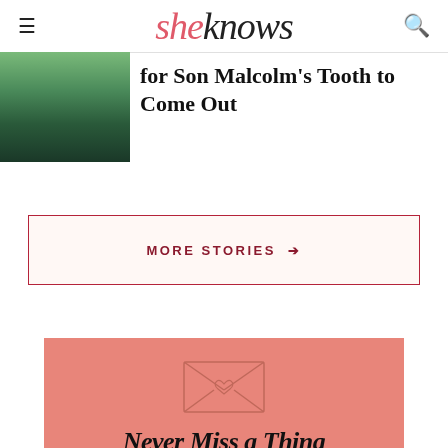sheknows
for Son Malcolm's Tooth to Come Out
MORE STORIES →
[Figure (illustration): Envelope with a heart illustration on salmon/coral background]
Never Miss a Thing
The stories you care about, delivered daily.